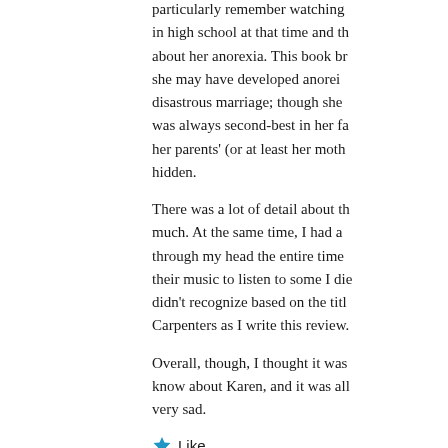particularly remember watching in high school at that time and the about her anorexia. This book br she may have developed anorei disastrous marriage; though she was always second-best in her fa her parents' (or at least her moth hidden.
There was a lot of detail about th much. At the same time, I had a through my head the entire time their music to listen to some I die didn't recognize based on the titl Carpenters as I write this review.
Overall, though, I thought it was know about Karen, and it was all very sad.
Like
February 11, 2017